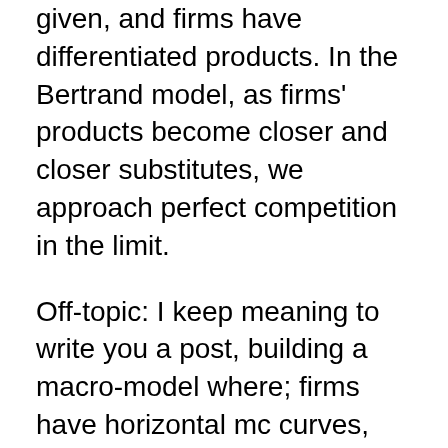given, and firms have differentiated products. In the Bertrand model, as firms' products become closer and closer substitutes, we approach perfect competition in the limit.
Off-topic: I keep meaning to write you a post, building a macro-model where; firms have horizontal mc curves, set price as a markup over mc, produce and sell however much is demanded at that price. Plus a bit of sticky prices. That's (roughly) how you view the world, right? And I will say it's a New Keynesian macro-model. Very very